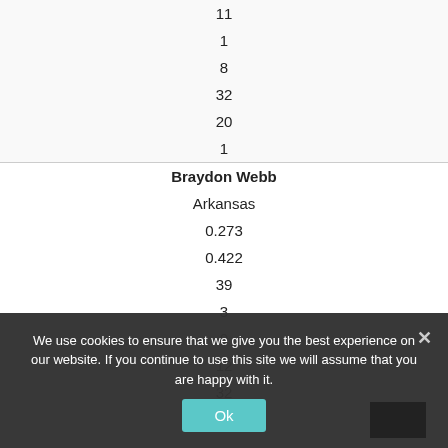| 11 |
| 1 |
| 8 |
| 32 |
| 20 |
| 1 |
| Braydon Webb |
| Arkansas |
| 0.273 |
| 0.422 |
| 39 |
| 3 |
| 0 |
| 12 |
| 32 |
| 32 |
We use cookies to ensure that we give you the best experience on our website. If you continue to use this site we will assume that you are happy with it.